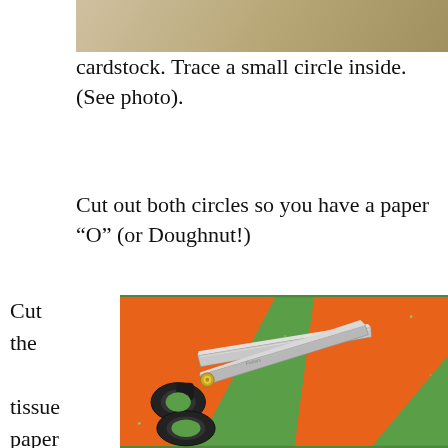[Figure (photo): Top portion of a photo showing cardstock paper on a surface]
cardstock. Trace a small circle inside. (See photo).
Cut out both circles so you have a paper “O” (or Doughnut!)
Cut the tissue paper into small
[Figure (photo): Photo of scissors on green and orange tissue paper]